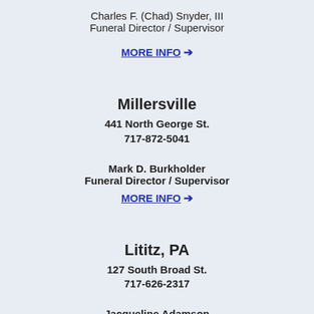Charles F. (Chad) Snyder, III
Funeral Director / Supervisor
MORE INFO →
Millersville
441 North George St.
717-872-5041
Mark D. Burkholder
Funeral Director / Supervisor
MORE INFO →
Lititz, PA
127 South Broad St.
717-626-2317
Jacqueline Adamson
Funeral Director / Supervisor
MORE INFO →
Strasburg, PA